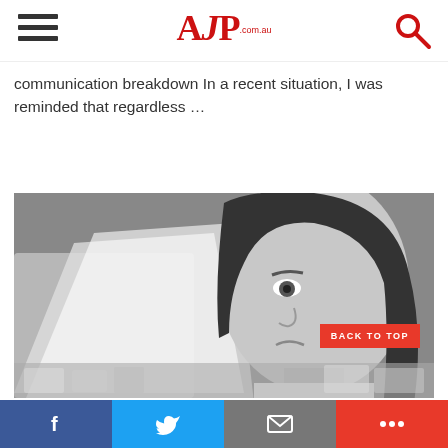AJP.com.au
communication breakdown In a recent situation, I was reminded that regardless …
[Figure (photo): Black and white photograph of a young woman with long dark hair looking confused or worried while reading a document, possibly in a pharmacy setting with medicine boxes visible in the foreground]
BACK TO TOP